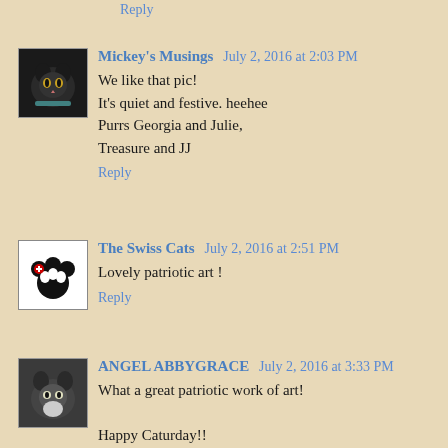Reply
Mickey's Musings  July 2, 2016 at 2:03 PM
We like that pic!
It's quiet and festive. heehee
Purrs Georgia and Julie,
Treasure and JJ
Reply
The Swiss Cats  July 2, 2016 at 2:51 PM
Lovely patriotic art !
Reply
ANGEL ABBYGRACE  July 2, 2016 at 3:33 PM
What a great patriotic work of art!

Happy Caturday!!